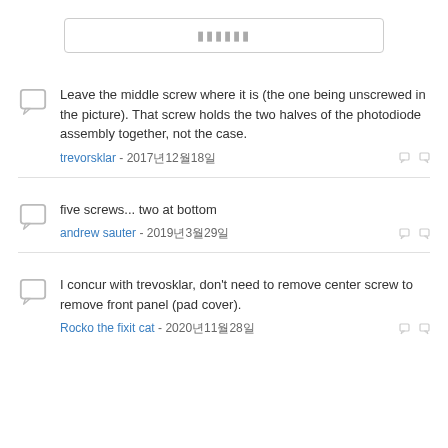（search box placeholder）
Leave the middle screw where it is (the one being unscrewed in the picture). That screw holds the two halves of the photodiode assembly together, not the case.
trevorsklar - 2017년12월18일
five screws... two at bottom
andrew sauter - 2019년3월29일
I concur with trevosklar, don't need to remove center screw to remove front panel (pad cover).
Rocko the fixit cat - 2020년11월28일